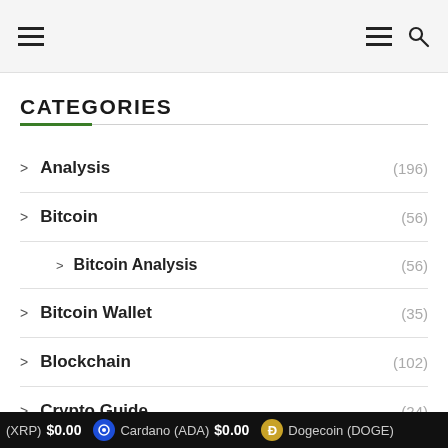Navigation header with hamburger menu, hamburger menu and search icon
CATEGORIES
> Analysis (196)
> Bitcoin (56)
> Bitcoin Analysis (56)
> Bitcoin Wallet (35)
> Blockchain (102)
> Crypto Guide (24)
> Cryptocurrency News
(XRP) $0.00   Cardano (ADA) $0.00   Dogecoin (DOGE)